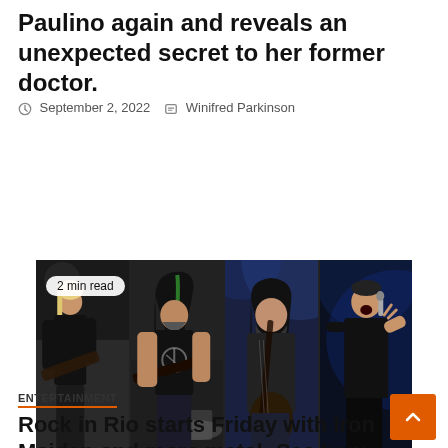Paulino again and reveals an unexpected secret to her former doctor.
September 2, 2022   Winifred Parkinson
[Figure (photo): Four-panel photo strip of rock musicians performing on stage: a guitarist in black t-shirt, a guitarist in black band shirt with tatoos, a long-haired guitarist playing guitar, and a singer with microphone. A '2 min read' badge overlays the first panel.]
ENTERTAINMENT
Rock in Rio starts Friday with Iron Maiden and more metal; See how the first day will